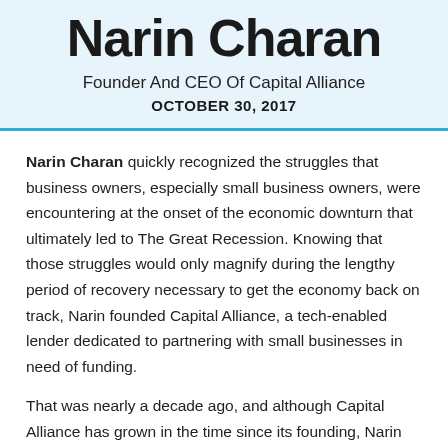Narin Charan
Founder And CEO Of Capital Alliance
OCTOBER 30, 2017
Narin Charan quickly recognized the struggles that business owners, especially small business owners, were encountering at the onset of the economic downturn that ultimately led to The Great Recession. Knowing that those struggles would only magnify during the lengthy period of recovery necessary to get the economy back on track, Narin founded Capital Alliance, a tech-enabled lender dedicated to partnering with small businesses in need of funding.
That was nearly a decade ago, and although Capital Alliance has grown in the time since its founding, Narin continues to emphasize the importance of staying true to the company's roots in the small business community. As a result, Narin's